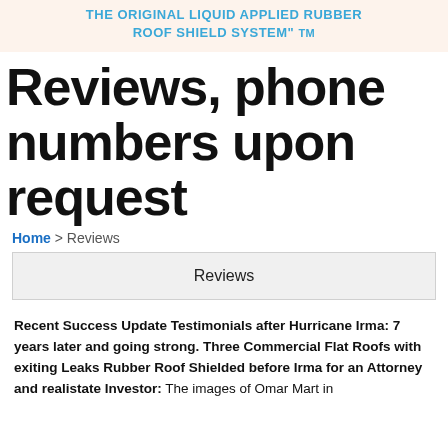THE ORIGINAL LIQUID APPLIED RUBBER ROOF SHIELD SYSTEM" TM
Reviews, phone numbers upon request
Home > Reviews
Reviews
Recent Success Update Testimonials after Hurricane Irma: 7 years later and going strong. Three Commercial Flat Roofs with exiting Leaks Rubber Roof Shielded before Irma for an Attorney and realistate Investor: The images of Omar Mart in